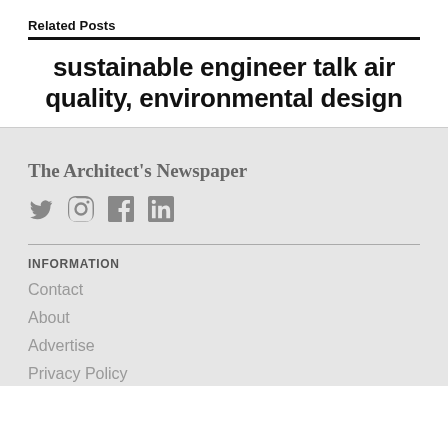Related Posts
sustainable engineer talk air quality, environmental design
The Architect's Newspaper
[Figure (other): Social media icons: Twitter, Instagram, Facebook, LinkedIn]
Information
Contact
About
Advertise
Privacy Policy